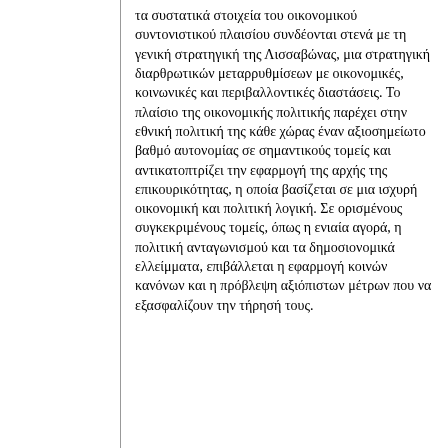τα συστατικά στοιχεία του οικονομικού συντονιστικού πλαισίου συνδέονται στενά με τη γενική στρατηγική της Λισσαβώνας, μια στρατηγική διαρθρωτικών μεταρρυθμίσεων με οικονομικές, κοινωνικές και περιβαλλοντικές διαστάσεις. Το πλαίσιο της οικονομικής πολιτικής παρέχει στην εθνική πολιτική της κάθε χώρας έναν αξιοσημείωτο βαθμό αυτονομίας σε σημαντικούς τομείς και αντικατοπτρίζει την εφαρμογή της αρχής της επικουρικότητας, η οποία βασίζεται σε μια ισχυρή οικονομική και πολιτική λογική. Σε ορισμένους συγκεκριμένους τομείς, όπως η ενιαία αγορά, η πολιτική ανταγωνισμού και τα δημοσιονομικά ελλείμματα, επιβάλλεται η εφαρμογή κοινών κανόνων και η πρόβλεψη αξιόπιστων μέτρων που να εξασφαλίζουν την τήρησή τους.